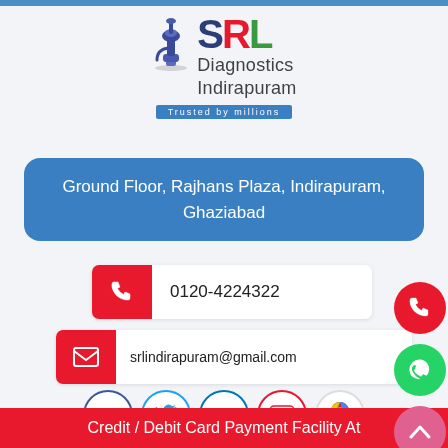[Figure (logo): SRL Diagnostics Indirapuram logo with microscope icon, red S, green L letters, and 'Trusted by millions' tagline]
Ground Floor, Rajhans Plaza, Indirapuram, Ghaziabad
0120-4224322
srlindirapuram@gmail.com
[Figure (infographic): Social media icons: Facebook, Twitter, LinkedIn, YouTube, Google Maps]
LOGIN
Credit / Debit Card Payment Facility At